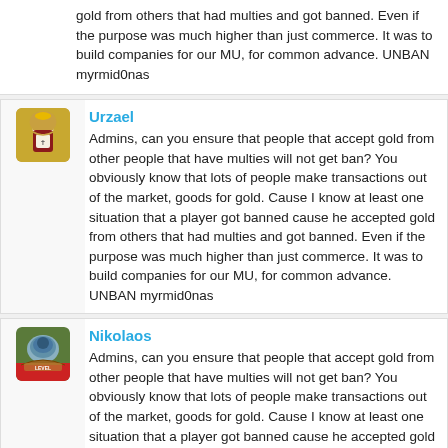gold from others that had multies and got banned. Even if the purpose was much higher than just commerce. It was to build companies for our MU, for common advance. UNBAN myrmid0nas
Urzael
Admins, can you ensure that people that accept gold from other people that have multies will not get ban? You obviously know that lots of people make transactions out of the market, goods for gold. Cause I know at least one situation that a player got banned cause he accepted gold from others that had multies and got banned. Even if the purpose was much higher than just commerce. It was to build companies for our MU, for common advance. UNBAN myrmid0nas
Nikolaos
Admins, can you ensure that people that accept gold from other people that have multies will not get ban? You obviously know that lots of people make transactions out of the market, goods for gold. Cause I know at least one situation that a player got banned cause he accepted gold from others that had multies and got banned. Even if the purpose was much higher than just commerce. It was